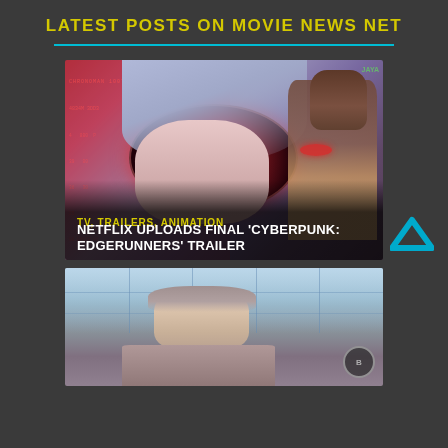LATEST POSTS ON MOVIE NEWS NET
[Figure (screenshot): Animated cyberpunk anime character with large eye and red iris, second character visible in background, with dark overlay showing category and title text: 'TV, TRAILERS, ANIMATION' and 'NETFLIX UPLOADS FINAL CYBERPUNK: EDGERUNNERS TRAILER']
[Figure (photo): Photo of a man (Daniel Craig) looking serious, inside a building with large windows, partially cropped at bottom of page]